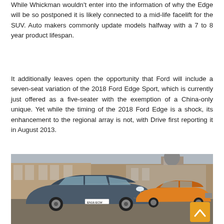While Whickman wouldn't enter into the information of why the Edge will be so postponed it is likely connected to a mid-life facelift for the SUV. Auto makers commonly update models halfway with a 7 to 8 year product lifespan.
It additionally leaves open the opportunity that Ford will include a seven-seat variation of the 2018 Ford Edge Sport, which is currently just offered as a five-seater with the exemption of a China-only unique. Yet while the timing of the 2018 Ford Edge is a shock, its enhancement to the regional array is not, with Drive first reporting it in August 2013.
[Figure (photo): Two Ford Edge SUVs parked in front of a stone castle or historic building. The foreground car is dark blue/grey with licence plate EN16 ECW, and behind it is an orange/yellow Ford Edge Sport. The background shows a grand stone building with towers.]